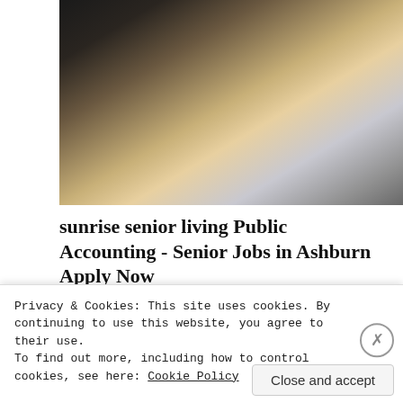[Figure (photo): Photo of a laptop keyboard and a calculator with financial charts/papers on a wooden desk, hands typing on the calculator]
sunrise senior living Public Accounting - Senior Jobs in Ashburn Apply Now
jobble.com
[Figure (photo): Photo of a house with vinyl siding and bare trees in the background]
Privacy & Cookies: This site uses cookies. By continuing to use this website, you agree to their use.
To find out more, including how to control cookies, see here: Cookie Policy
Close and accept